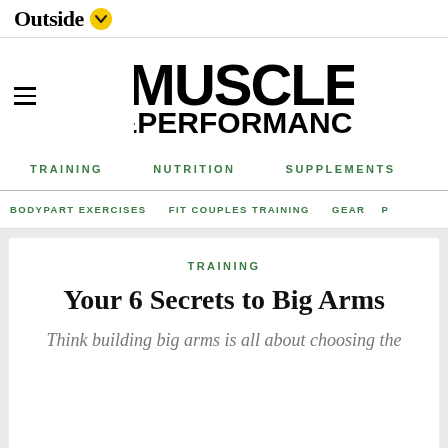Outside
[Figure (logo): Muscle & Performance magazine logo in bold black condensed type]
TRAINING   NUTRITION   SUPPLEMENTS
BODYPART EXERCISES   FIT COUPLES TRAINING   GEAR   P...
TRAINING
Your 6 Secrets to Big Arms
Think building big arms is all about choosing the